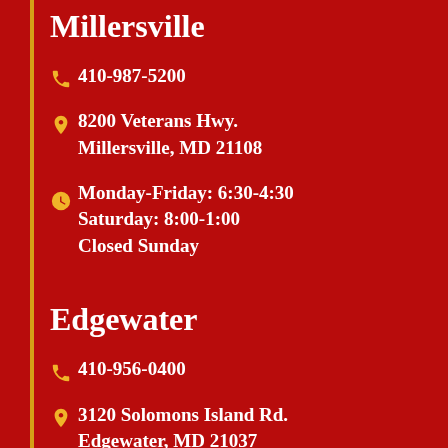Millersville
410-987-5200
8200 Veterans Hwy.
Millersville, MD 21108
Monday-Friday: 6:30-4:30
Saturday: 8:00-1:00
Closed Sunday
Edgewater
410-956-0400
3120 Solomons Island Rd.
Edgewater, MD 21037